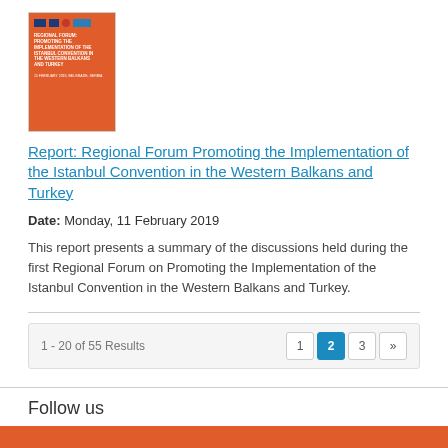[Figure (illustration): Thumbnail of report cover with orange background and title text: REGIONAL FORUM: PROMOTING THE IMPLEMENTATION OF THE ISTANBUL CONVENTION IN THE WESTERN BALKANS AND TURKEY]
Report: Regional Forum Promoting the Implementation of the Istanbul Convention in the Western Balkans and Turkey
Date: Monday, 11 February 2019
This report presents a summary of the discussions held during the first Regional Forum on Promoting the Implementation of the Istanbul Convention in the Western Balkans and Turkey.
1 - 20 of 55 Results
Follow us